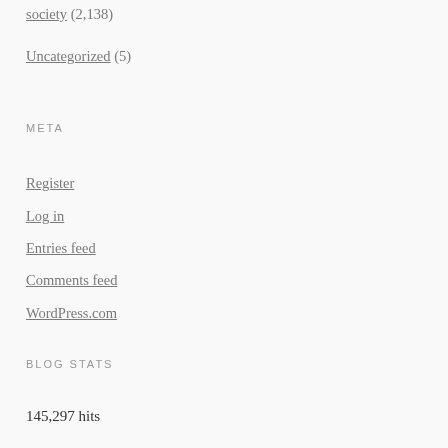society (2,138)
Uncategorized (5)
META
Register
Log in
Entries feed
Comments feed
WordPress.com
BLOG STATS
145,297 hits